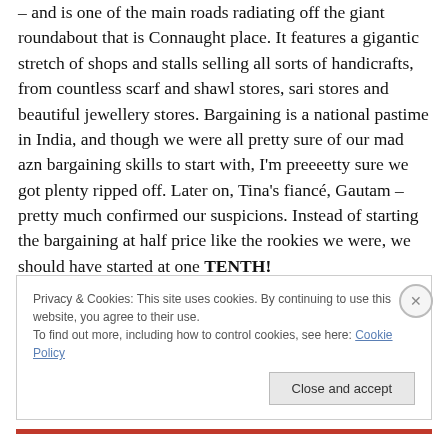– and is one of the main roads radiating off the giant roundabout that is Connaught place. It features a gigantic stretch of shops and stalls selling all sorts of handicrafts, from countless scarf and shawl stores, sari stores and beautiful jewellery stores. Bargaining is a national pastime in India, and though we were all pretty sure of our mad azn bargaining skills to start with, I'm preeeetty sure we got plenty ripped off. Later on, Tina's fiancé, Gautam – pretty much confirmed our suspicions. Instead of starting the bargaining at half price like the rookies we were, we should have started at one TENTH!
Privacy & Cookies: This site uses cookies. By continuing to use this website, you agree to their use.
To find out more, including how to control cookies, see here: Cookie Policy